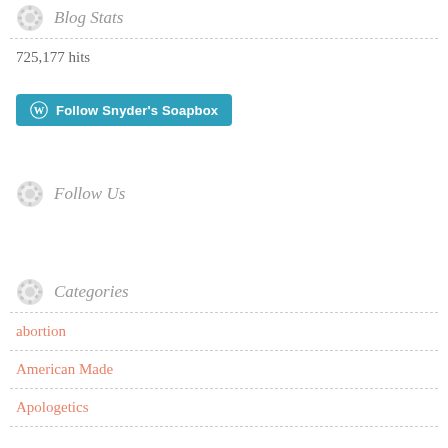Blog Stats
725,177 hits
[Figure (other): Follow Snyder's Soapbox WordPress follow button]
Follow Us
Categories
abortion
American Made
Apologetics